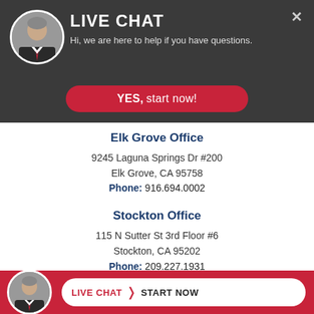[Figure (screenshot): Live chat popup overlay with dark header showing person avatar, LIVE CHAT title, subtitle text, YES start now button]
LIVE CHAT
Hi, we are here to help if you have questions.
YES, start now!
Elk Grove Office
9245 Laguna Springs Dr #200
Elk Grove, CA 95758
Phone: 916.694.0002
Stockton Office
115 N Sutter St 3rd Floor #6
Stockton, CA 95202
Phone: 209.227.1931
LIVE CHAT START NOW